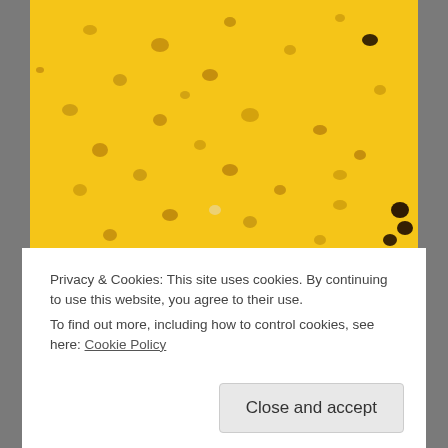[Figure (photo): Close-up photo of yellow background scattered with small golden/dark circular confetti pieces, blurred depth of field]
Privacy & Cookies: This site uses cookies. By continuing to use this website, you agree to their use.
To find out more, including how to control cookies, see here: Cookie Policy
Close and accept